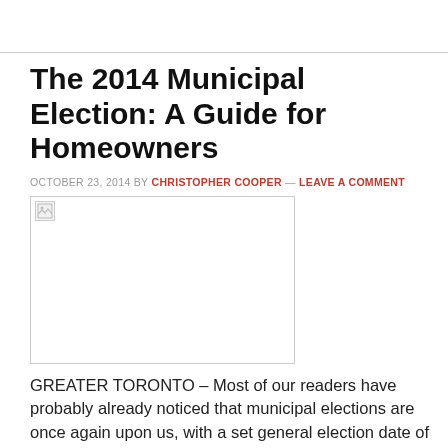The 2014 Municipal Election: A Guide for Homeowners
OCTOBER 23, 2014 BY CHRISTOPHER COOPER — LEAVE A COMMENT
[Figure (photo): Broken/missing image placeholder for article illustration]
GREATER TORONTO – Most of our readers have probably already noticed that municipal elections are once again upon us, with a set general election date of October 27th, 2014. For Ontario residents, that means heading to the local electoral office to help select your area's